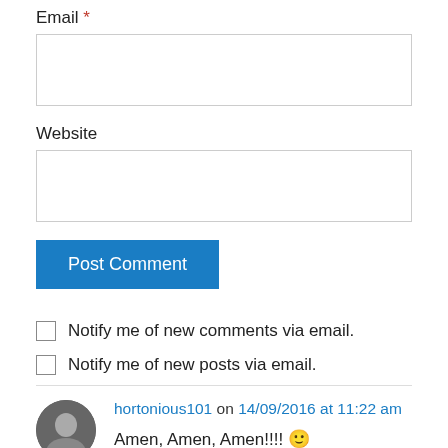Email *
Website
Post Comment
Notify me of new comments via email.
Notify me of new posts via email.
hortonious101 on 14/09/2016 at 11:22 am
Amen, Amen, Amen!!!! 🙂